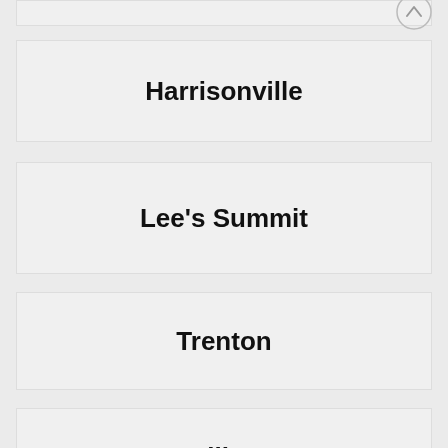Harrisonville
Lee's Summit
Trenton
Sullivan